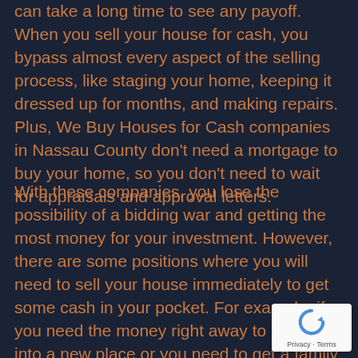can take a long time to see any payoff. When you sell your house for cash, you bypass almost every aspect of the selling process, like staging your home, keeping it dressed up for months, and making repairs. Plus, We Buy Houses for Cash companies in Nassau County don't need a mortgage to buy your home, so you don't need to wait for appraisals and approval letters.
With these companies, you lose the possibility of a bidding war and getting the most money for your investment. However, there are some positions where you will need to sell your house immediately to get some cash in your pocket. For example, if you need the money right away to move into a new place or you need to get a family member's home off your hands. If that is the case, finding a We Buy Houses company in Port Washington North NY is your saving grace.